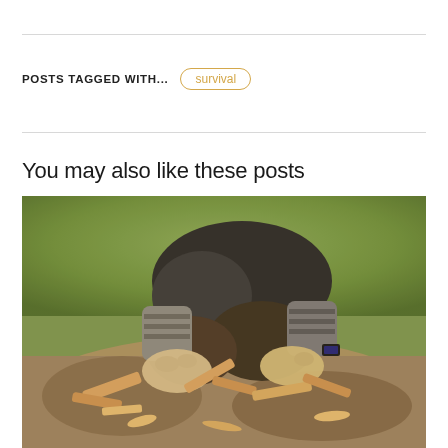POSTS TAGGED WITH...
survival
You may also like these posts
[Figure (photo): Person wearing work gloves kneeling on sandy ground, working with wood shavings and kindling sticks, likely starting a fire or doing bushcraft/survival activity. Green grass visible in background. Vintage/warm toned photograph.]